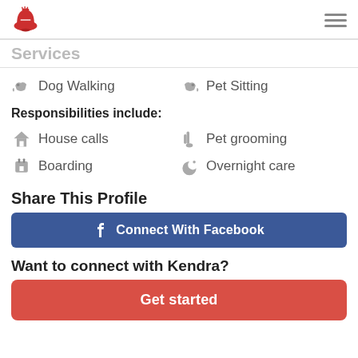Services
Dog Walking
Pet Sitting
Responsibilities include:
House calls
Pet grooming
Boarding
Overnight care
Share This Profile
Connect With Facebook
Want to connect with Kendra?
Get started